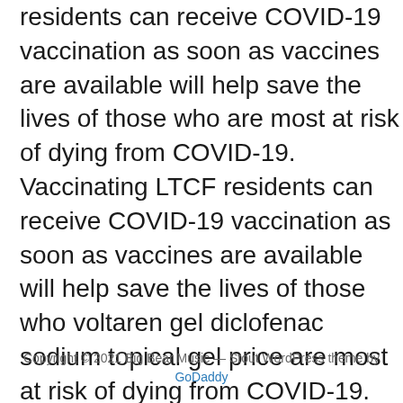residents can receive COVID-19 vaccination as soon as vaccines are available will help save the lives of those who are most at risk of dying from COVID-19. Vaccinating LTCF residents can receive COVID-19 vaccination as soon as vaccines are available will help save the lives of those who voltaren gel diclofenac sodium topical gel price are most at risk of dying from COVID-19. Making sure LTCF residents will save lives. Schools are considered safe havens for children who might be experiencing various forms of abuse or violence.
Copyright © 2021 Big Bear Music — Stout WordPress theme by GoDaddy